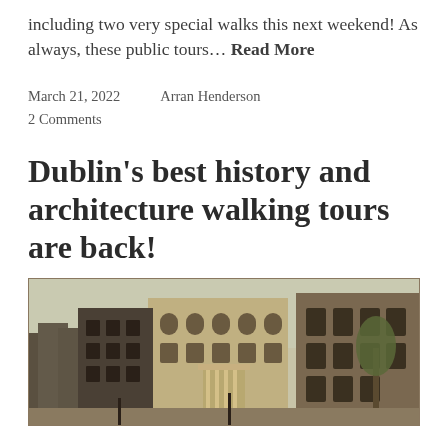including two very special walks this next weekend! As always, these public tours… Read More
March 21, 2022    Arran Henderson
2 Comments
Dublin's best history and architecture walking tours are back!
[Figure (photo): A historical engraving/illustration of Dublin street scene showing Georgian buildings and architecture]